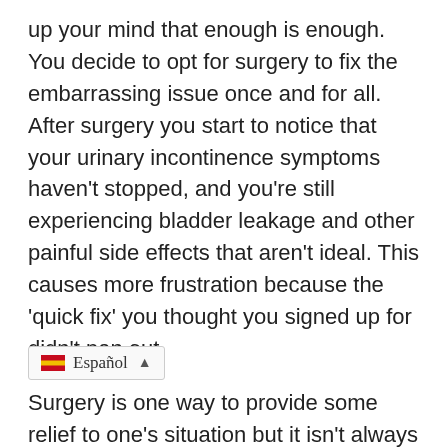up your mind that enough is enough. You decide to opt for surgery to fix the embarrassing issue once and for all. After surgery you start to notice that your urinary incontinence symptoms haven't stopped, and you're still experiencing bladder leakage and other painful side effects that aren't ideal. This causes more frustration because the 'quick fix' you thought you signed up for didn't pan out.
Surgery is one way to provide some relief to one's situation but it isn't always the answer to completely stopping incontinence symptoms and the feelings that come with it. Post-surgery problems can leave you feeling worse than you did before, or even cause changes to your body that you weren't expecting. This ntal health suffering again and leaves you feeling like you have nowhere to turn. These